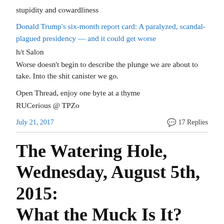stupidity and cowardliness
Donald Trump's six-month report card: A paralyzed, scandal-plagued presidency — and it could get worse
h/t Salon
Worse doesn't begin to describe the plunge we are about to take. Into the shit canister we go.
Open Thread, enjoy one byte at a thyme
RUCerious @ TPZo
July 21, 2017
💬 17 Replies
The Watering Hole, Wednesday, August 5th, 2015: What the Muck Is It?